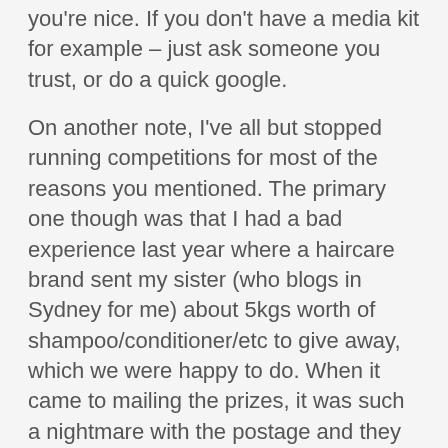you're nice. If you don't have a media kit for example – just ask someone you trust, or do a quick google.
On another note, I've all but stopped running competitions for most of the reasons you mentioned. The primary one though was that I had a bad experience last year where a haircare brand sent my sister (who blogs in Sydney for me) about 5kgs worth of shampoo/conditioner/etc to give away, which we were happy to do. When it came to mailing the prizes, it was such a nightmare with the postage and they eventually came back to us over a month later to say they would look at the receipts if we had them.
At the end of the day though, blo...